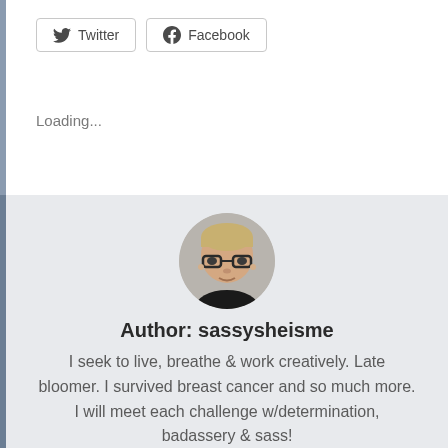[Figure (other): Twitter and Facebook share buttons with icons]
Loading...
[Figure (photo): Circular profile photo of a woman with glasses and short blonde hair]
Author: sassysheisme
I seek to live, breathe & work creatively. Late bloomer. I survived breast cancer and so much more. I will meet each challenge w/determination, badassery & sass!
VIEW ALL POSTS